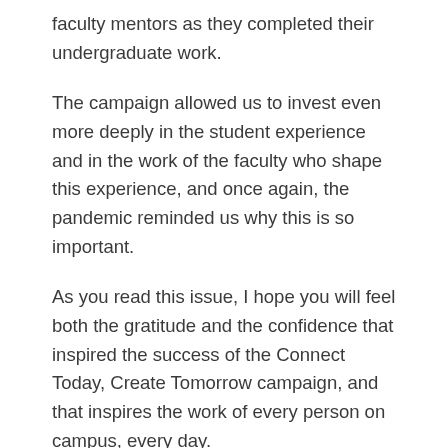faculty mentors as they completed their undergraduate work.
The campaign allowed us to invest even more deeply in the student experience and in the work of the faculty who shape this experience, and once again, the pandemic reminded us why this is so important.
As you read this issue, I hope you will feel both the gratitude and the confidence that inspired the success of the Connect Today, Create Tomorrow campaign, and that inspires the work of every person on campus, every day.